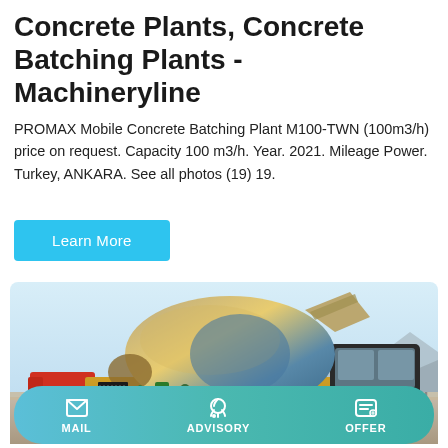Concrete Plants, Concrete Batching Plants - Machineryline
PROMAX Mobile Concrete Batching Plant M100-TWN (100m3/h) price on request. Capacity 100 m3/h. Year. 2021. Mileage Power. Turkey, ANKARA. See all photos (19) 19.
Learn More
[Figure (photo): Photo of a yellow mobile concrete mixer truck (self-loading transit mixer, model 4003) on a dusty outdoor site with mountains and clear sky in the background.]
MAIL  ADVISORY  OFFER